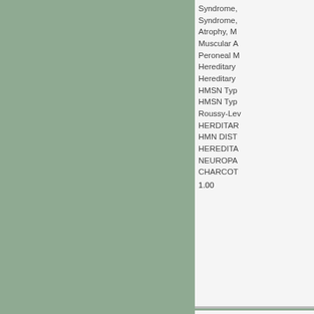Syndrome,
Syndrome,
Atrophy, M
Muscular A
Peroneal M
Hereditary
Hereditary
HMSN Typ
HMSN Typ
Rouussy-Le
HERDITAB
HMN DIST
HEREDITA
NEUROPA
CHARCOT
1.00
Muscular A
Neurotrophic
Atrophies,
Atrophies,
Atrophies,
Atrophies,
Atrophy, M
Atrophy, N
Atrophy, N
Muscle Atr
Muscle Atr
Muscular A
Muscular A
Muscular A
Muscular A
Muscular A
Neurogenic
Neurotoph
Atrophy, M
Neurogenic
0.81